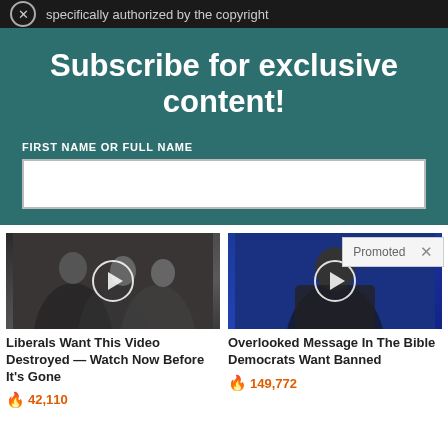specifically authorized by the copyright
Subscribe for exclusive content!
FIRST NAME OR FULL NAME
[Figure (screenshot): White text input field for name entry]
Promoted X
[Figure (photo): Thumbnail: political figures at event with play button overlay. Caption: Liberals Want This Video Destroyed — Watch Now Before It's Gone. 42,110]
[Figure (photo): Thumbnail: man speaking on blue background with play button overlay. Caption: Overlooked Message In The Bible Democrats Want Banned. 149,772]
Liberals Want This Video Destroyed — Watch Now Before It's Gone
42,110
Overlooked Message In The Bible Democrats Want Banned
149,772